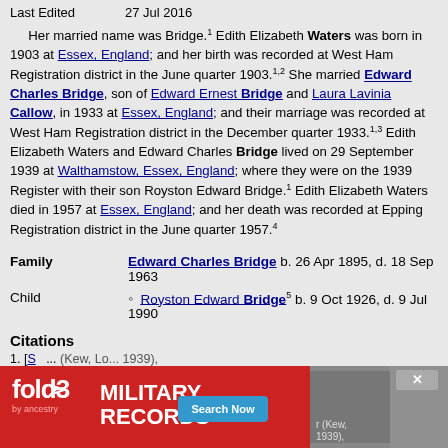| Field | Value |
| --- | --- |
| Last Edited | 27 Jul 2016 |
Her married name was Bridge.1 Edith Elizabeth Waters was born in 1903 at Essex, England; and her birth was recorded at West Ham Registration district in the June quarter 1903.1,2 She married Edward Charles Bridge, son of Edward Ernest Bridge and Laura Lavinia Callow, in 1933 at Essex, England; and their marriage was recorded at West Ham Registration district in the December quarter 1933.1,3 Edith Elizabeth Waters and Edward Charles Bridge lived on 29 September 1939 at Walthamstow, Essex, England; where they were on the 1939 Register with their son Royston Edward Bridge.1 Edith Elizabeth Waters died in 1957 at Essex, England; and her death was recorded at Epping Registration district in the June quarter 1957.4
| Label | Person | Dates |
| --- | --- | --- |
| Family | Edward Charles Bridge | b. 26 Apr 1895, d. 18 Sep 1963 |
| Child | Royston Edward Bridge | b. 9 Oct 1926, d. 9 Jul 1990 |
Citations
1. [S... (Kew, Lo... 1939),
[Figure (infographic): fold3 by Ancestry advertisement banner for military records with Search Now button]